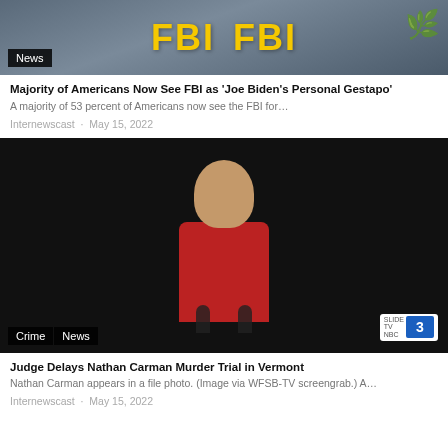[Figure (photo): FBI agents in jackets with FBI text in yellow, green foliage visible at right]
Majority of Americans Now See FBI as ‘Joe Biden’s Personal Gestapo’
A majority of 53 percent of Americans now see the FBI for…
Internewscast · May 15, 2022
[Figure (photo): Young man with brown hair in red shirt speaking at microphones against black background. Channel 3 logo visible bottom right. Tags: Crime, News]
Judge Delays Nathan Carman Murder Trial in Vermont
Nathan Carman appears in a file photo. (Image via WFSB-TV screengrab.) A…
Internewscast · May 15, 2022